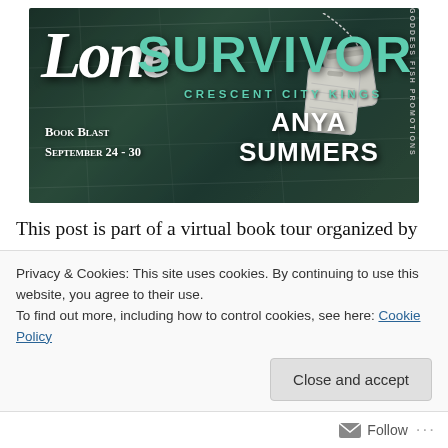[Figure (illustration): Book blast banner for 'Lone Survivor' by Anya Summers, Crescent City Kings series. Dark teal/green chalkboard background with dog tags. Text: 'Lone Survivor', 'Crescent City Kings', 'Anya Summers', 'Book Blast September 24-30'. Goddess Fish Promotions watermark on right side.]
This post is part of a virtual book tour organized by Goddess Fish Promotions. Anya will be awarding a $15 Amazon/BN gift card to a randomly chosen winner via Rafflecopter. Click on the tour banner to see the other
Privacy & Cookies: This site uses cookies. By continuing to use this website, you agree to their use.
To find out more, including how to control cookies, see here: Cookie Policy
Close and accept
Follow